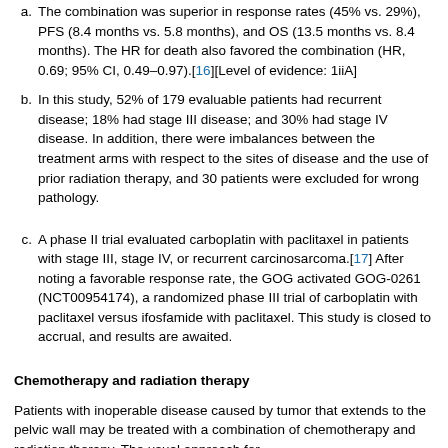a. The combination was superior in response rates (45% vs. 29%), PFS (8.4 months vs. 5.8 months), and OS (13.5 months vs. 8.4 months). The HR for death also favored the combination (HR, 0.69; 95% CI, 0.49–0.97).[16][Level of evidence: 1iiA]
b. In this study, 52% of 179 evaluable patients had recurrent disease; 18% had stage III disease; and 30% had stage IV disease. In addition, there were imbalances between the treatment arms with respect to the sites of disease and the use of prior radiation therapy, and 30 patients were excluded for wrong pathology.
c. A phase II trial evaluated carboplatin with paclitaxel in patients with stage III, stage IV, or recurrent carcinosarcoma.[17] After noting a favorable response rate, the GOG activated GOG-0261 (NCT00954174), a randomized phase III trial of carboplatin with paclitaxel versus ifosfamide with paclitaxel. This study is closed to accrual, and results are awaited.
Chemotherapy and radiation therapy
Patients with inoperable disease caused by tumor that extends to the pelvic wall may be treated with a combination of chemotherapy and radiation therapy. The usual approach for